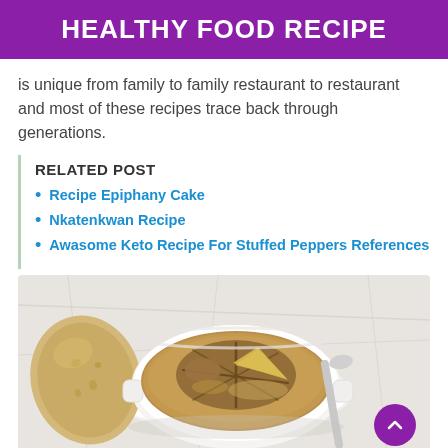HEALTHY FOOD RECIPE
is unique from family to family restaurant to restaurant and most of these recipes trace back through generations.
RELATED POST
Recipe Epiphany Cake
Nkatenkwan Recipe
Awasome Keto Recipe For Stuffed Peppers References
[Figure (photo): Top-down view of a white ceramic bowl containing a stew or soup with visible pieces of food, alongside a piece of bread on the left and a spoon on the right, set on a light marble surface.]